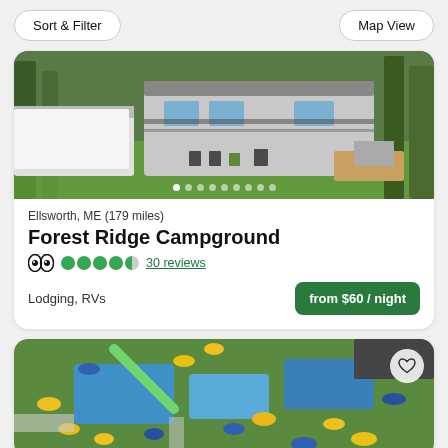Sort & Filter | Map View
[Figure (photo): Photo of an RV campground with large RV parked among trees on green grass, with camping chairs outside]
Ellsworth, ME (179 miles)
Forest Ridge Campground
TripAdvisor rating: 4.5 bubbles, 30 reviews
Lodging, RVs
from $60 / night
[Figure (photo): Aerial photo of a campground water park area with blue pools, yellow and blue umbrellas, and a water slide]